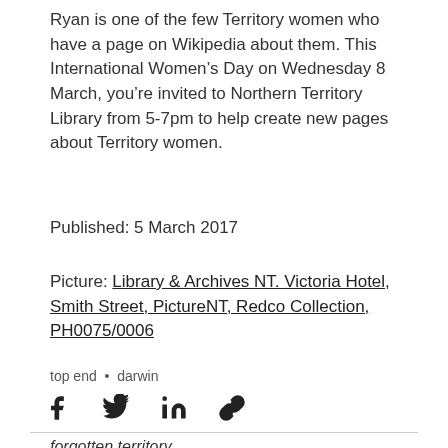Ryan is one of the few Territory women who have a page on Wikipedia about them. This International Women's Day on Wednesday 8 March, you're invited to Northern Territory Library from 5-7pm to help create new pages about Territory women.
Published: 5 March 2017
Picture: Library & Archives NT. Victoria Hotel, Smith Street, PictureNT, Redco Collection, PH0075/0006
top end • darwin
[Figure (infographic): Social media share icons: Facebook, Twitter, LinkedIn, link/chain icon]
forgotten territory